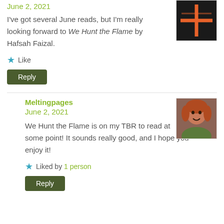June 2, 2021
I've got several June reads, but I'm really looking forward to We Hunt the Flame by Hafsah Faizal.
Like
Reply
Meltingpages
June 2, 2021
We Hunt the Flame is on my TBR to read at some point! It sounds really good, and I hope you enjoy it!
Liked by 1 person
Reply